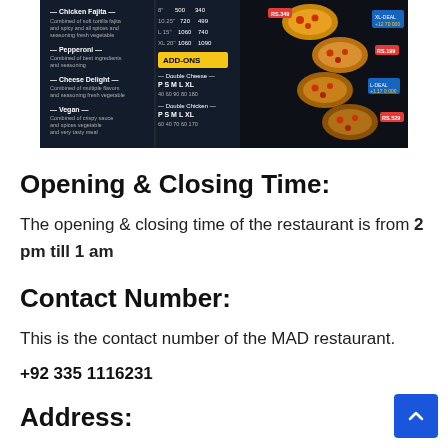[Figure (photo): Dark-themed pizza restaurant menu showing various pizza sizes and prices with ADD-ONS section, pizzas displayed on right side against black chalkboard background]
Opening & Closing Time:
The opening & closing time of the restaurant is from 2 pm till 1 am
Contact Number:
This is the contact number of the MAD restaurant.
+92 335 1116231
Address: